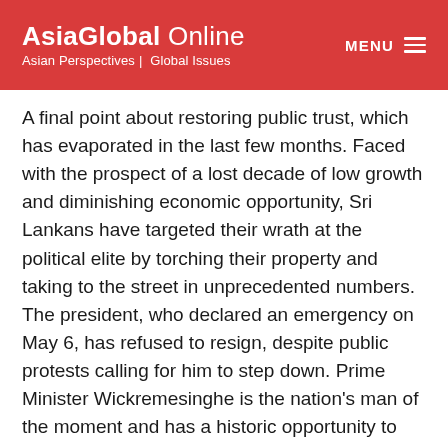AsiaGlobal Online — Asian Perspectives | Global Issues
A final point about restoring public trust, which has evaporated in the last few months. Faced with the prospect of a lost decade of low growth and diminishing economic opportunity, Sri Lankans have targeted their wrath at the political elite by torching their property and taking to the street in unprecedented numbers. The president, who declared an emergency on May 6, has refused to resign, despite public protests calling for him to step down. Prime Minister Wickremesinghe is the nation's man of the moment and has a historic opportunity to reverse decades of neglect in public policy and erosion of trust in institutions. But besides money, the country is running out of time.